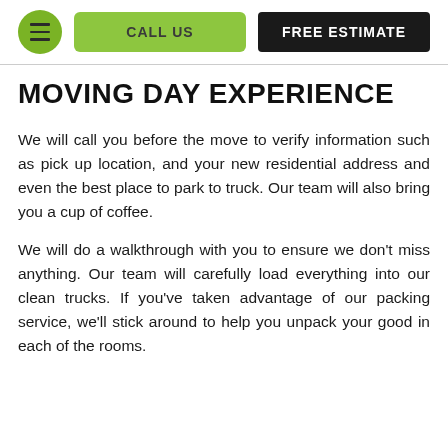CALL US | FREE ESTIMATE
MOVING DAY EXPERIENCE
We will call you before the move to verify information such as pick up location, and your new residential address and even the best place to park to truck. Our team will also bring you a cup of coffee.
We will do a walkthrough with you to ensure we don't miss anything. Our team will carefully load everything into our clean trucks. If you've taken advantage of our packing service, we'll stick around to help you unpack your good in each of the rooms.